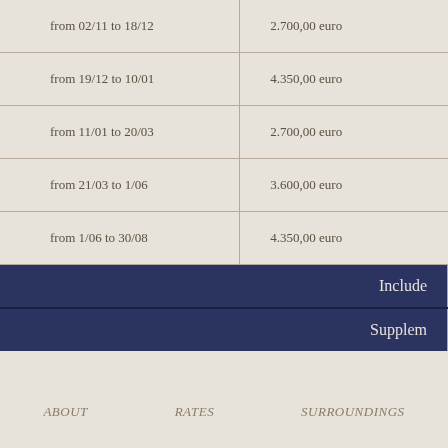| Period | Rate |
| --- | --- |
| from 02/11 to 18/12 | 2.700,00 euro |
| from 19/12 to 10/01 | 4.350,00 euro |
| from 11/01 to 20/03 | 2.700,00 euro |
| from 21/03 to 1/06 | 3.600,00 euro |
| from 1/06 to 30/08 | 4.350,00 euro |
|  | Included |
|  | Supplements |
ABOUT   RATES   SURROUNDINGS